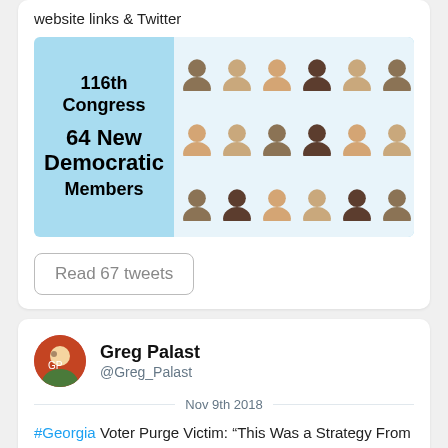website links & Twitter
[Figure (infographic): 116th Congress 64 New Democratic Members - grid of headshot photos]
Read 67 tweets
Greg Palast
@Greg_Palast
Nov 9th 2018
#Georgia Voter Purge Victim: “This Was a Strategy From Kemp” — my latest for @truthout truthout.org/articles/georg… #BrianKemp #Midterms2018 #StaceyAbrams #ElectionDay #VoterSuppression
Yasmin Bakhtiari was told she’d been purged by